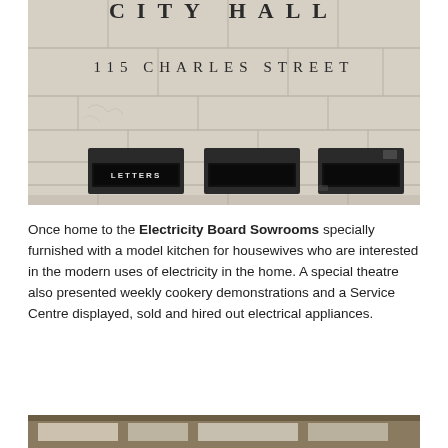[Figure (photo): Photo of City Hall building facade showing stone wall with text '115 CHARLES STREET' and three dark mail slots/letter boxes mounted on the wall, the left one labeled 'LETTERS']
Once home to the Electricity Board Sowrooms specially furnished with a model kitchen for housewives who are interested in the modern uses of electricity in the home. A special theatre also presented weekly cookery demonstrations and a Service Centre displayed, sold and hired out electrical appliances.
[Figure (photo): Partial photo of a building exterior, cropped at bottom of page]